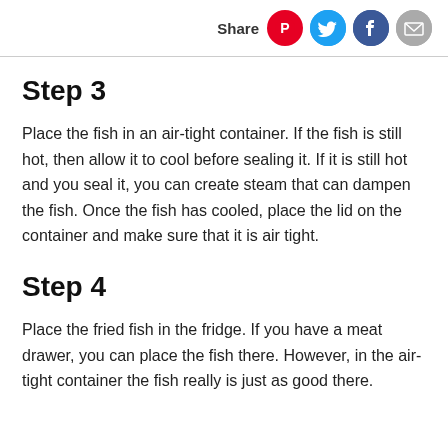Share
Step 3
Place the fish in an air-tight container. If the fish is still hot, then allow it to cool before sealing it. If it is still hot and you seal it, you can create steam that can dampen the fish. Once the fish has cooled, place the lid on the container and make sure that it is air tight.
Step 4
Place the fried fish in the fridge. If you have a meat drawer, you can place the fish there. However, in the air-tight container the fish really is just as good there.